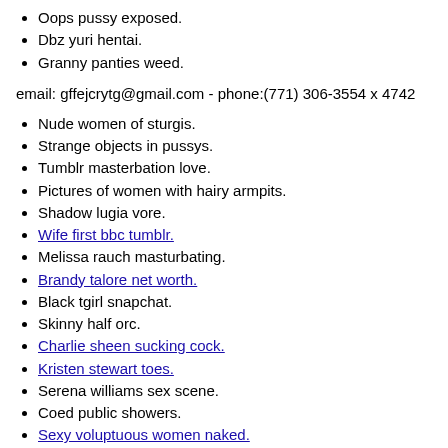Oops pussy exposed.
Dbz yuri hentai.
Granny panties weed.
email: gffejcrytg@gmail.com - phone:(771) 306-3554 x 4742
Nude women of sturgis.
Strange objects in pussys.
Tumblr masterbation love.
Pictures of women with hairy armpits.
Shadow lugia vore.
Wife first bbc tumblr.
Melissa rauch masturbating.
Brandy talore net worth.
Black tgirl snapchat.
Skinny half orc.
Charlie sheen sucking cock.
Kristen stewart toes.
Serena williams sex scene.
Coed public showers.
Sexy voluptuous women naked.
Teen nude selfie ass.
Hot wife stag tumblr.
Linda hamilton breasts.
Highschool dxd sexy pictures.
Stormy daniel feet.